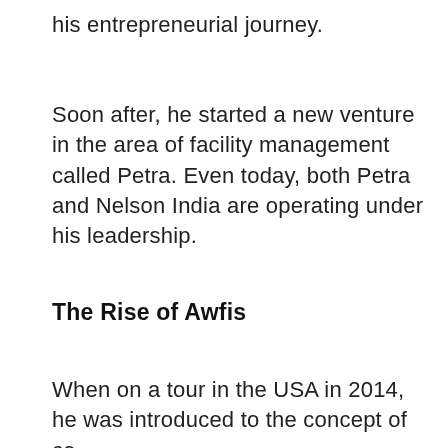his entrepreneurial journey.
Soon after, he started a new venture in the area of facility management called Petra. Even today, both Petra and Nelson India are operating under his leadership.
The Rise of Awfis
When on a tour in the USA in 2014, he was introduced to the concept of co-